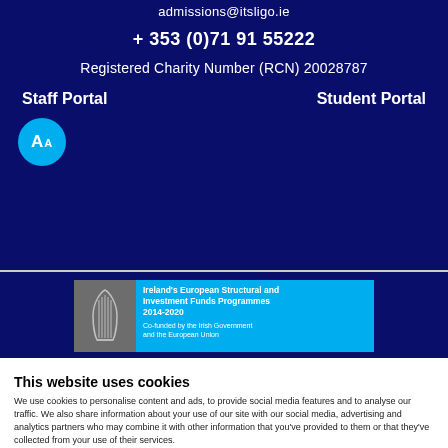admissions@itsligo.ie
+ 353 (0)71 91 55222
Registered Charity Number (RCN) 20028787
Staff Portal
Student Portal
[Figure (logo): Circular teal logo with 'Aa' letters in white]
[Figure (logo): Ireland's European Structural and Investment Funds Programmes 2014-2020, Co-funded by the Irish Government and the European Union banner]
This website uses cookies
We use cookies to personalise content and ads, to provide social media features and to analyse our traffic. We also share information about your use of our site with our social media, advertising and analytics partners who may combine it with other information that you've provided to them or that they've collected from your use of their services.
Use necessary cookies only
Allow all cookies
Show details